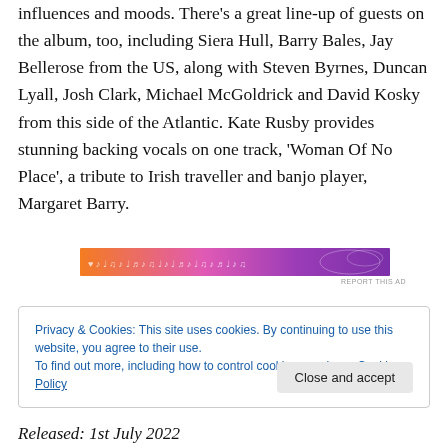influences and moods. There's a great line-up of guests on the album, too, including Siera Hull, Barry Bales, Jay Bellerose from the US, along with Steven Byrnes, Duncan Lyall, Josh Clark, Michael McGoldrick and David Kosky from this side of the Atlantic. Kate Rusby provides stunning backing vocals on one track, 'Woman Of No Place', a tribute to Irish traveller and banjo player, Margaret Barry.
[Figure (infographic): Decorative banner advertisement with musical notes and floral patterns, gradient from orange to purple]
Privacy & Cookies: This site uses cookies. By continuing to use this website, you agree to their use.
To find out more, including how to control cookies, see here: Cookie Policy
Close and accept
Released: 1st July 2022